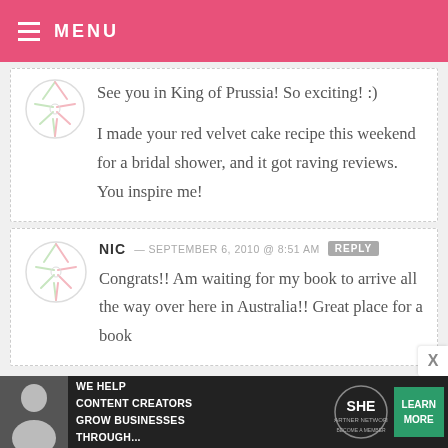MENU
See you in King of Prussia! So exciting! :)

I made your red velvet cake recipe this weekend for a bridal shower, and it got raving reviews. You inspire me!
NIC — SEPTEMBER 6, 2010 @ 8:51 AM  REPLY

Congrats!! Am waiting for my book to arrive all the way over here in Australia!! Great place for a book
[Figure (infographic): Ad banner: WE HELP CONTENT CREATORS GROW BUSINESSES THROUGH... SHE PARTNER NETWORK BECOME A MEMBER | LEARN MORE]